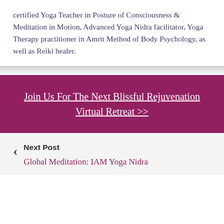certified Yoga Teacher in Posture of Consciousness & Meditation in Motion, Advanced Yoga Nidra facilitator, Yoga Therapy practitioner in Amrit Method of Body Psychology, as well as Reiki healer.
Join Us For The Next Blissful Rejuvenation Virtual Retreat >>
Next Post
Global Meditation: IAM Yoga Nidra